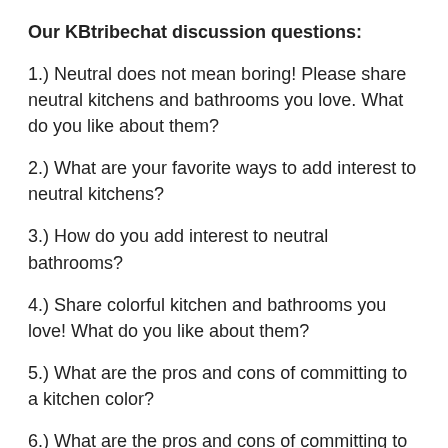Our KBtribechat discussion questions:
1.) Neutral does not mean boring! Please share neutral kitchens and bathrooms you love. What do you like about them?
2.) What are your favorite ways to add interest to neutral kitchens?
3.) How do you add interest to neutral bathrooms?
4.) Share colorful kitchen and bathrooms you love! What do you like about them?
5.) What are the pros and cons of committing to a kitchen color?
6.) What are the pros and cons of committing to color for